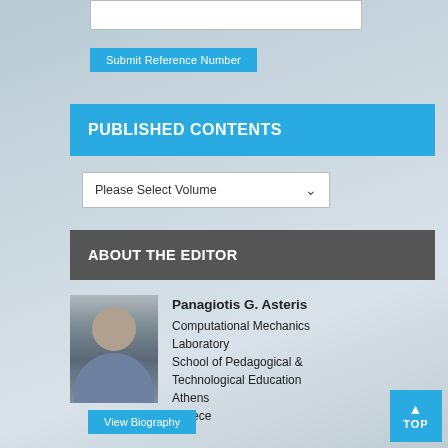[Figure (screenshot): White input text box for reference number submission]
Submit Reference Number
PUBLISHED CONTENTS
Please Select Volume
ABOUT THE EDITOR
[Figure (photo): Portrait photo of Panagiotis G. Asteris]
Panagiotis G. Asteris
Computational Mechanics Laboratory
School of Pedagogical & Technological Education
Athens
Greece
View Biography
TOP